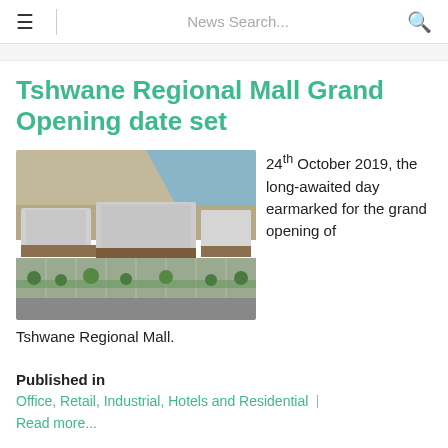≡  News Search...  🔍
Tshwane Regional Mall Grand Opening date set
[Figure (photo): Aerial rendering of Tshwane Regional Mall, showing a large retail complex with parking lot, rooftops, and surrounding landscape near water.]
24th October 2019, the long-awaited day earmarked for the grand opening of Tshwane Regional Mall.
Published in
Office, Retail, Industrial, Hotels and Residential
Read more...